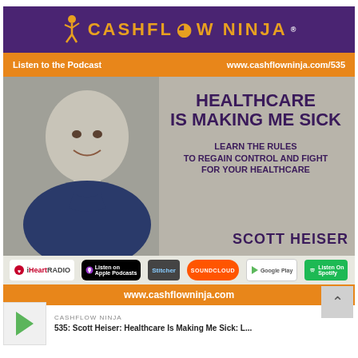[Figure (infographic): Cashflow Ninja podcast promotional card for episode 535 featuring Scott Heiser. Purple header with Cashflow Ninja logo, orange bar with 'Listen to the Podcast' and website URL, main image with man in blue shirt and text 'Healthcare Is Making Me Sick - Learn the Rules to Regain Control and Fight for Your Healthcare', podcast platform badges (iHeartRadio, Apple Podcasts, Stitcher, SoundCloud, Google Play, Spotify), and bottom orange bar with website URL.]
CASHFLOW NINJA
535: Scott Heiser: Healthcare Is Making Me Sick: L...